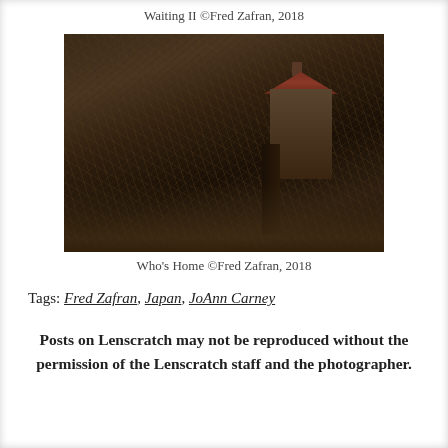Waiting II ©Fred Zafran, 2018
[Figure (photo): Dark atmospheric photograph of an abandoned stone barn or house with a reddish roof, partially hidden among a dense tangle of bare branches and dry brush, taken in Japan. Moody, dark brown tones throughout.]
Who's Home ©Fred Zafran, 2018
Tags: Fred Zafran, Japan, JoAnn Carney
Posts on Lenscratch may not be reproduced without the permission of the Lenscratch staff and the photographer.